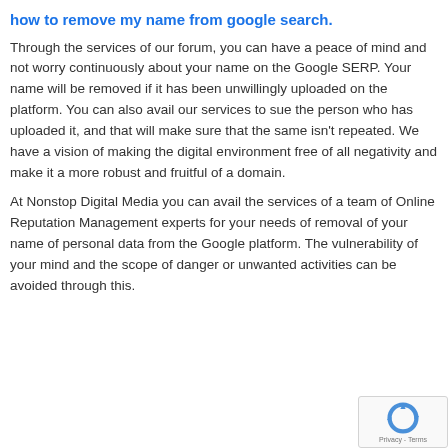how to remove my name from google search.
Through the services of our forum, you can have a peace of mind and not worry continuously about your name on the Google SERP. Your name will be removed if it has been unwillingly uploaded on the platform. You can also avail our services to sue the person who has uploaded it, and that will make sure that the same isn't repeated. We have a vision of making the digital environment free of all negativity and make it a more robust and fruitful of a domain.
At Nonstop Digital Media you can avail the services of a team of Online Reputation Management experts for your needs of removal of your name of personal data from the Google platform. The vulnerability of your mind and the scope of danger or unwanted activities can be avoided through this.
[Figure (other): reCAPTCHA badge with logo and Privacy - Terms text]